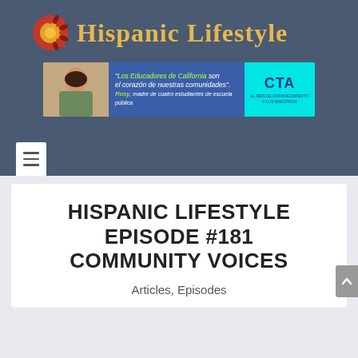[Figure (logo): Hispanic Lifestyle logo with decorative sun/mandala icon in red and orange, and bold gold serif text reading 'Hispanic Lifestyle']
[Figure (infographic): CTA advertisement banner: photo of a woman on the left, blue section with italic text 'Los Educadores de California son el corazón de nuestras comunidades'. Rosy, madre de cuatro estudiantes de escuela pública, and cyan section with CTA logo and text EL MES DE AGRADECIMIENTO A LOS MAESTROS]
HISPANIC LIFESTYLE EPISODE #181 COMMUNITY VOICES
Articles, Episodes